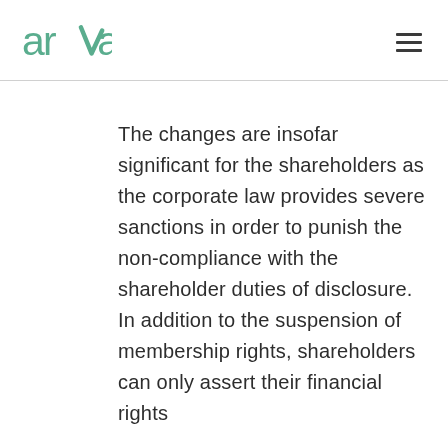arva
The changes are insofar significant for the shareholders as the corporate law provides severe sanctions in order to punish the non-compliance with the shareholder duties of disclosure. In addition to the suspension of membership rights, shareholders can only assert their financial rights at the bottom of the content.